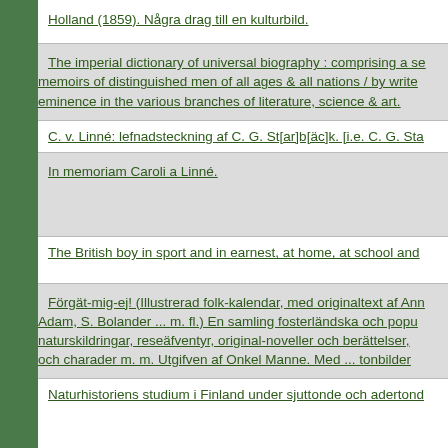Holland (1859). Några drag till en kulturbild.
The imperial dictionary of universal biography : comprising a series of original memoirs of distinguished men of all ages & all nations / by writers of eminence in the various branches of literature, science & art.
C. v. Linné: lefnadsteckning af C. G. St[ar]b[äc]k. [i.e. C. G. Sta...
In memoriam Caroli a Linné.
The British boy in sport and in earnest, at home, at school and ...
Förgät-mig-ej! (Illustrerad folk-kalendar, med originaltext af Ann... Adam, S. Bolander ... m. fl.) En samling fosterländska och populär-naturskildringar, reseäfventyr, original-noveller och berättelser, skämt och charader m. m. Utgifven af Onkel Manne. Med ... tonbilder...
Naturhistoriens studium i Finland under sjuttonde och adertond...